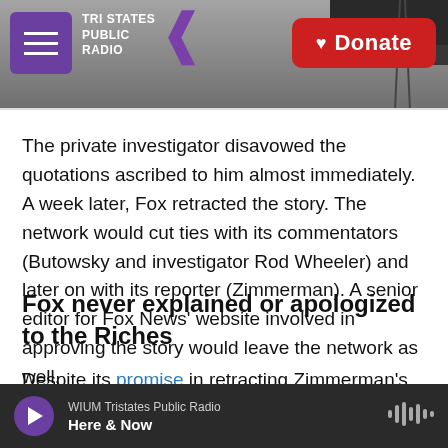Tri States Public Radio | Donate
The private investigator disavowed the quotations ascribed to him almost immediately. A week later, Fox retracted the story. The network would cut ties with its commentators (Butowsky and investigator Rod Wheeler) and later on with its reporter (Zimmerman). A senior editor for Fox News' website involved in approving the story would leave the network as well.
Fox never explained or apologized to the Riches
Despite its promise in retracting Zimmerman's
WIUM Tristates Public Radio | Here & Now